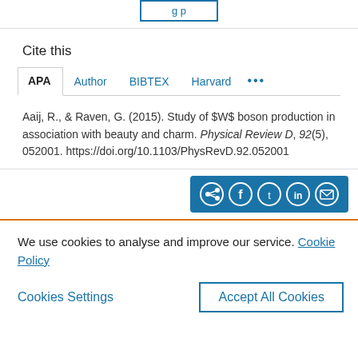[Figure (other): Partial top button with blue border, partially visible at top of page]
Cite this
APA | Author | BIBTEX | Harvard | ... (tabs)
Aaij, R., & Raven, G. (2015). Study of $W$ boson production in association with beauty and charm. Physical Review D, 92(5), 052001. https://doi.org/10.1103/PhysRevD.92.052001
[Figure (other): Blue share bar with social icons: share, facebook, twitter, linkedin, email]
We use cookies to analyse and improve our service. Cookie Policy
Cookies Settings | Accept All Cookies